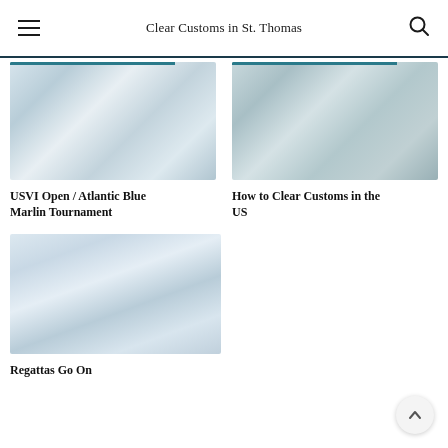Clear Customs in St. Thomas
[Figure (photo): Blurred photo of a building or waterfront with palm trees, light blue and white tones]
USVI Open / Atlantic Blue Marlin Tournament
[Figure (photo): Blurred photo of a white yacht or boat on water, grayish-blue tones]
How to Clear Customs in the US
[Figure (photo): Blurred photo of a sailboat on water, light blue and white tones]
Regattas Go On